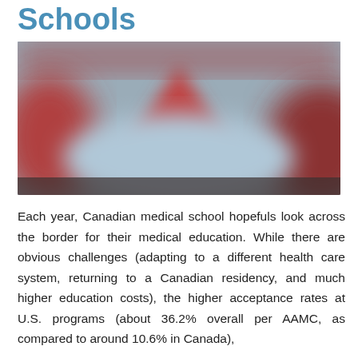Schools
[Figure (photo): Blurred photo showing red and light blue abstract shapes, likely stylized Canadian or medical imagery.]
Each year, Canadian medical school hopefuls look across the border for their medical education. While there are obvious challenges (adapting to a different health care system, returning to a Canadian residency, and much higher education costs), the higher acceptance rates at U.S. programs (about 36.2% overall per AAMC, as compared to around 10.6% in Canada),